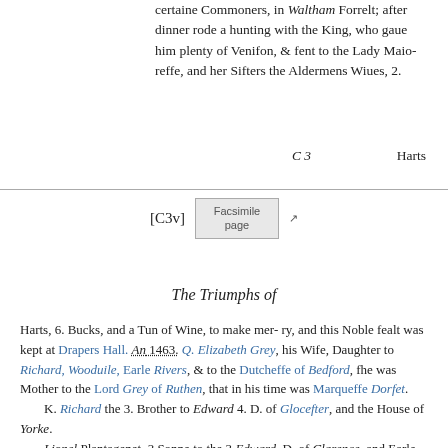certaine Commoners, in Waltham Forrelt; after dinner rode a hunting with the King, who gaue him plenty of Venifon, & fent to the Lady Maioreffe, and her Sifters the Aldermens Wiues, 2.
C 3    Harts
[C3v]  Facsimile page
The Triumphs of
Harts, 6. Bucks, and a Tun of Wine, to make merry, and this Noble fealt was kept at Drapers Hall. An 1463. Q. Elizabeth Grey, his Wife, Daughter to Richard, Wooduile, Earle Rivers, & to the Dutcheffe of Bedford, fhe was Mother to the Lord Grey of Ruthen, that in his time was Marquefle Dorfet.
    K. Richard the 3. Brother to Edward 4. D. of Glocefter, and the House of Yorke.
    Lionel Plantagenet, 3 Sonne to the 3 Edward, D. of Clarence, and Earle of Vlfter; Philip his Daughter, and Heire, married Edward Mortimer, Earle of March, from whom the Houfe of Yorke defcends.
    Henry Plantagenet, Grandchild to Edmond